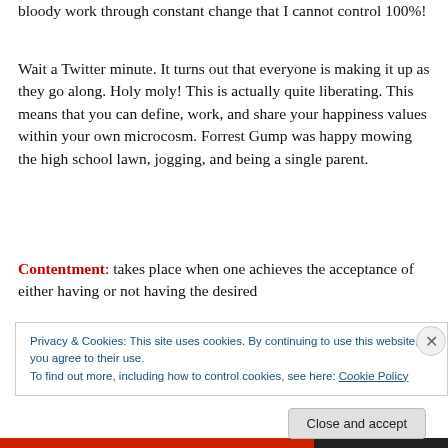bloody work through constant change that I cannot control 100%!
Wait a Twitter minute.  It turns out that everyone is making it up as they go along.  Holy moly! This is actually quite liberating.  This means that you can define, work, and share your happiness values within your own microcosm.  Forrest Gump was happy mowing the high school lawn, jogging, and being a single parent.
Contentment: takes place when one achieves the acceptance of either having or not having the desired
Privacy & Cookies: This site uses cookies. By continuing to use this website, you agree to their use.
To find out more, including how to control cookies, see here: Cookie Policy
Close and accept